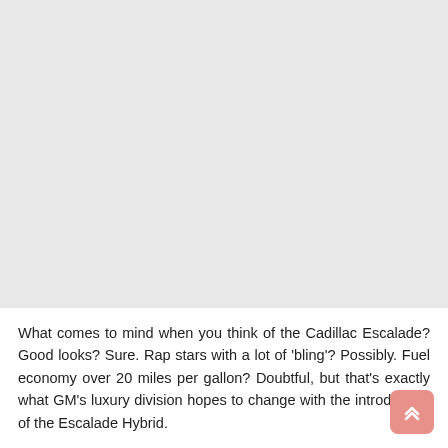[Figure (photo): Large grey placeholder image area occupying the upper portion of the page]
What comes to mind when you think of the Cadillac Escalade? Good looks? Sure. Rap stars with a lot of 'bling'? Possibly. Fuel economy over 20 miles per gallon? Doubtful, but that's exactly what GM's luxury division hopes to change with the introduction of the Escalade Hybrid.